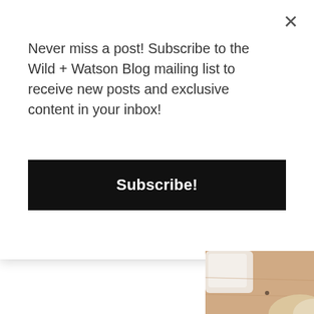Never miss a post! Subscribe to the Wild + Watson Blog mailing list to receive new posts and exclusive content in your inbox!
Subscribe!
[Figure (photo): Partial photo of a person with blonde hair and blurred wooden/warm background visible in the bottom right of the page]